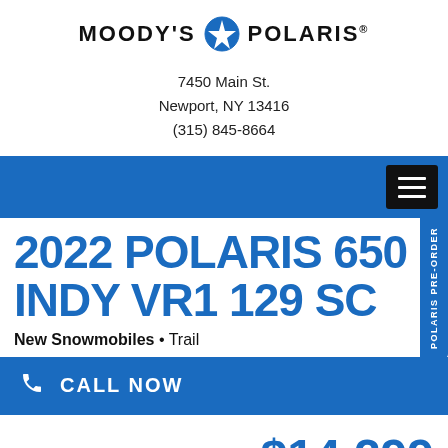MOODY'S POLARIS
7450 Main St.
Newport, NY 13416
(315) 845-8664
2022 POLARIS 650 INDY VR1 129 SC
New Snowmobiles • Trail
CALL NOW
MSRP  $14,299